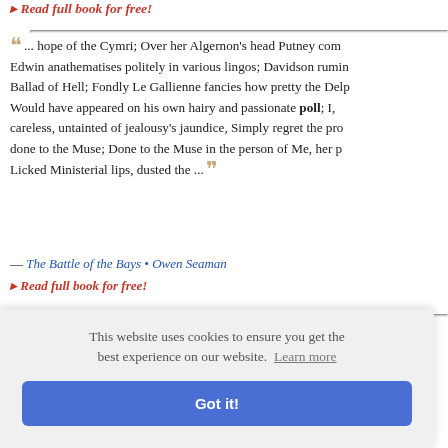▸ Read full book for free!
" ... hope of the Cymri; Over her Algernon's head Putney com Edwin anathematises politely in various lingos; Davidson rumin Ballad of Hell; Fondly Le Gallienne fancies how pretty the Delp Would have appeared on his own hairy and passionate poll; I, careless, untainted of jealousy's jaundice, Simply regret the pr done to the Muse; Done to the Muse in the person of Me, her p Licked Ministerial lips, dusted the ... "
— The Battle of the Bays • Owen Seaman
▸ Read full book for free!
" ... chabdalagy[cha2], dactylomagy[cha2]; measurement &c. ometry, flu lculus; cal census, c | notation, ctice, equa approxima ..."
— Roget's Thesaurus • Peter Mark Roget
This website uses cookies to ensure you get the best experience on our website. Learn more Got it!